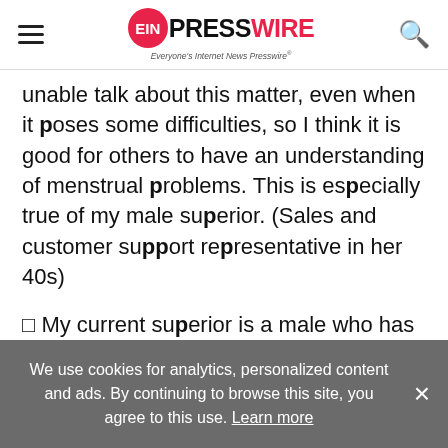EIN PRESSWIRE - Everyone's Internet News Presswire
unable talk about this matter, even when it poses some difficulties, so I think it is good for others to have an understanding of menstrual problems. This is especially true of my male superior. (Sales and customer support representative in her 40s)
□ My current superior is a male who has casually mentioned that he wanted only men in the workplace when female employees are undergoing certain "troubles" unique to women such as
We use cookies for analytics, personalized content and ads. By continuing to browse this site, you agree to this use. Learn more